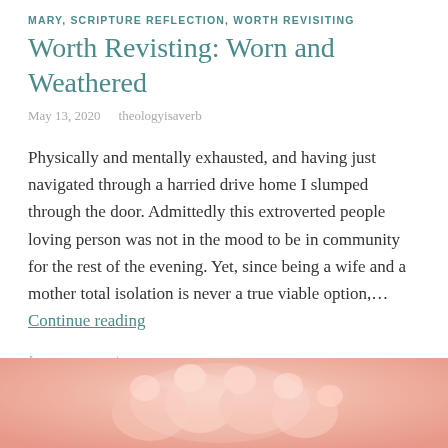MARY, SCRIPTURE REFLECTION, WORTH REVISITING
Worth Revisting: Worn and Weathered
May 13, 2020    theologyisaverb
Physically and mentally exhausted, and having just navigated through a harried drive home I slumped through the door. Admittedly this extroverted people loving person was not in the mood to be in community for the rest of the evening. Yet, since being a wife and a mother total isolation is never a true viable option,… Continue reading
Leave a comment
[Figure (photo): Close-up photo of baby toes or fingers in soft pink/peach tones]